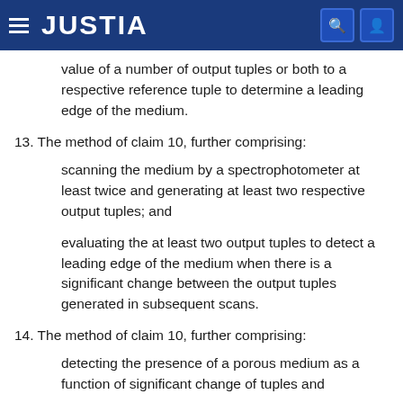JUSTIA
value of a number of output tuples or both to a respective reference tuple to determine a leading edge of the medium.
13. The method of claim 10, further comprising:
scanning the medium by a spectrophotometer at least twice and generating at least two respective output tuples; and
evaluating the at least two output tuples to detect a leading edge of the medium when there is a significant change between the output tuples generated in subsequent scans.
14. The method of claim 10, further comprising:
detecting the presence of a porous medium as a function of significant change of tuples and...